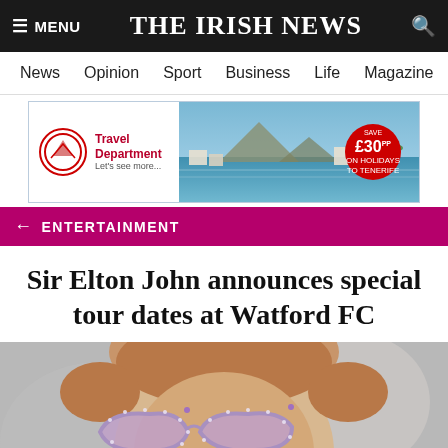≡ MENU  THE IRISH NEWS  🔍
News  Opinion  Sport  Business  Life  Magazine  Arts
[Figure (screenshot): Advertisement banner for Travel Department featuring a coastal resort photo and a red circular badge showing SAVE £30 on holidays to Tenerife]
← ENTERTAINMENT
Sir Elton John announces special tour dates at Watford FC
[Figure (photo): Close-up photo of Sir Elton John wearing decorative cat-eye sunglasses with rhinestone embellishments, pearl earring visible, blurred background]